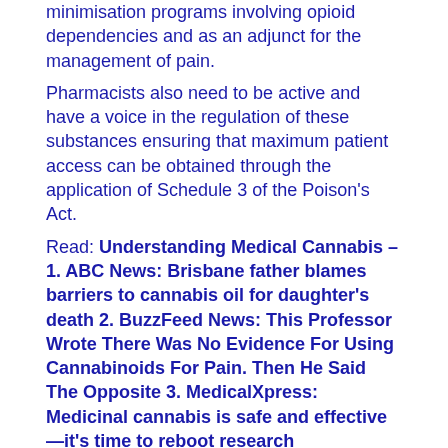minimisation programs involving opioid dependencies and as an adjunct for the management of pain.
Pharmacists also need to be active and have a voice in the regulation of these substances ensuring that maximum patient access can be obtained through the application of Schedule 3 of the Poison's Act.
Read: Understanding Medical Cannabis – 1. ABC News: Brisbane father blames barriers to cannabis oil for daughter's death 2. BuzzFeed News: This Professor Wrote There Was No Evidence For Using Cannabinoids For Pain. Then He Said The Opposite 3. MedicalXpress: Medicinal cannabis is safe and effective—it's time to reboot research
Harvey Mackay is back with an article on perseverance. Perseverance is the quality that underwrites success. It is the magic ingredient that reinforces a direction when a necessary change is required to adapt your professional practice to satisfy a community need. You can think through appropriate changes and rationalise them to yourself – even design and record a range of micro-processes to achieve a change.
But it is not always successful unless you manage in the first